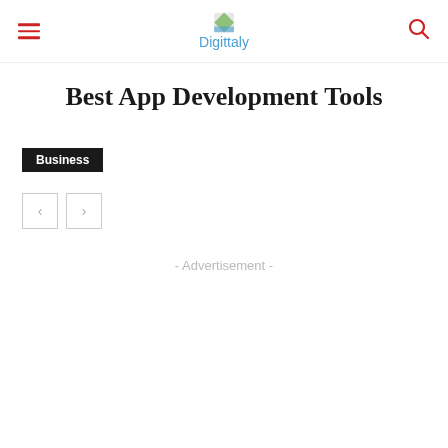Digittaly
Best App Development Tools
Business
- Advertisement -